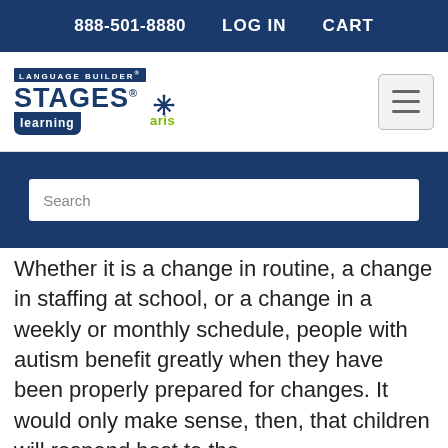888-501-8880   LOG IN   CART
[Figure (logo): Language Builder Stages Learning / aris logo with hamburger menu button]
[Figure (other): Search input field on dark blue background]
Whether it is a change in routine, a change in staffing at school, or a change in a weekly or monthly schedule, people with autism benefit greatly when they have been properly prepared for changes. It would only make sense, then, that children will respond best to the